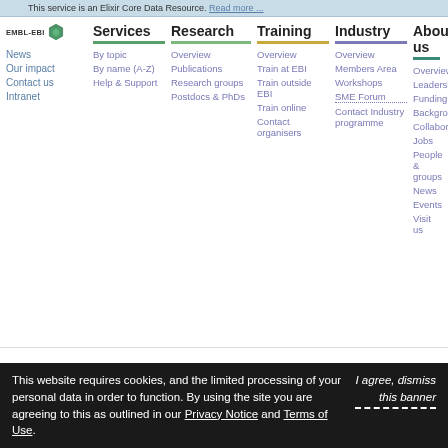This service is an Elixir Core Data Resource. Read more ...
[Figure (screenshot): EMBL-EBI navigation menu with columns: Services (By topic, By name A-Z, Help & Support), Research (Overview, Publications, Research groups, Postdocs & PhDs), Training (Overview, Train at EBI, Train outside EBI, Train online, Contact organisers), Industry (Overview, Members Area, Workshops, SME Forum, Contact Industry programme), About us (Overview, Leadership, Funding, Background, Collaboration, Jobs, People & groups, News, Events, Visit us)]
This website requires cookies, and the limited processing of your personal data in order to function. By using the site you are agreeing to this as outlined in our Privacy Notice and Terms of Use.
I agree, dismiss this banner